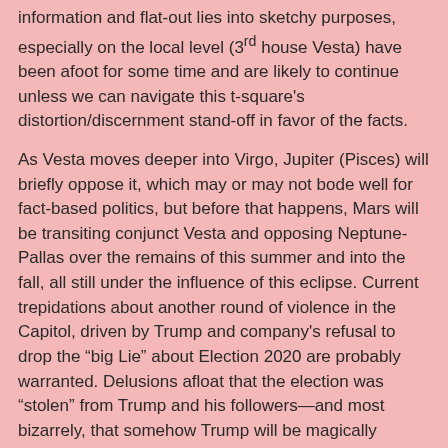information and flat-out lies into sketchy purposes, especially on the local level (3rd house Vesta) have been afoot for some time and are likely to continue unless we can navigate this t-square's distortion/discernment stand-off in favor of the facts.
As Vesta moves deeper into Virgo, Jupiter (Pisces) will briefly oppose it, which may or may not bode well for fact-based politics, but before that happens, Mars will be transiting conjunct Vesta and opposing Neptune-Pallas over the remains of this summer and into the fall, all still under the influence of this eclipse. Current trepidations about another round of violence in the Capitol, driven by Trump and company's refusal to drop the “big Lie” about Election 2020 are probably warranted. Delusions afloat that the election was “stolen” from Trump and his followers—and most bizarrely, that somehow Trump will be magically reinstated in the White House yet this summer—are still stoking grievances and undermining real efforts to get anything rational done in D.C. these days.
[Figure (photo): Dark atmospheric image showing what appears to be Godzilla or a monster silhouette with spiky features against a cloudy sky]